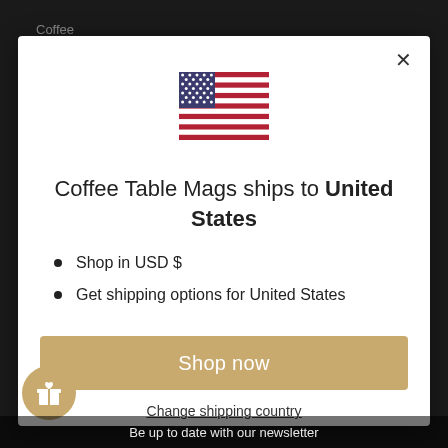Coffee
[Figure (illustration): US flag emoji/icon centered in modal]
Coffee Table Mags ships to United States
Shop in USD $
Get shipping options for United States
Shop now
Change shipping country
[Figure (illustration): Gift icon in golden circle button, bottom left]
Be up to date with our newsletter